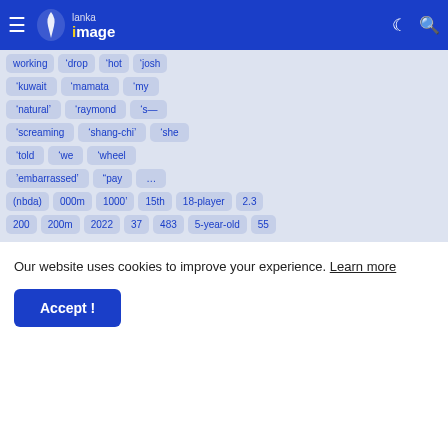Lanka Image
working  ‘drop  ‘hot  ‘josh
‘kuwait  ‘mamata  ‘my
‘natural’  ‘raymond  ‘s—
‘screaming  ‘shang-chi’  ‘she
‘told  ‘we  ‘wheel
’embarrassed’  “pay  …
(nbda)  000m  1000’  15th  18-player  2.3
200  200m  2022  37  483  5-year-old  55
Our website uses cookies to improve your experience. Learn more
Accept !